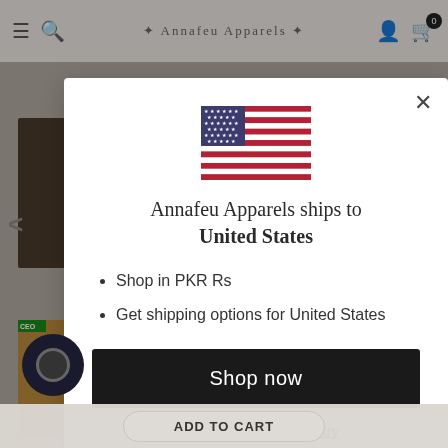[Figure (screenshot): E-commerce website background with navigation bar, product images, arrows, and chat widget]
[Figure (illustration): United States flag SVG illustration centered in modal]
Annafeu Apparels ships to United States
Shop in PKR Rs
Get shipping options for United States
Shop now
Change shipping country